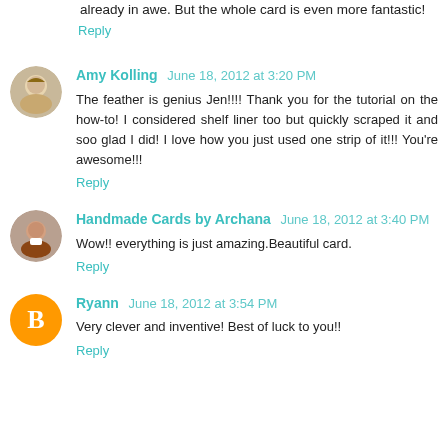already in awe. But the whole card is even more fantastic!
Reply
Amy Kolling  June 18, 2012 at 3:20 PM
The feather is genius Jen!!!! Thank you for the tutorial on the how-to! I considered shelf liner too but quickly scraped it and soo glad I did! I love how you just used one strip of it!!! You're awesome!!!
Reply
Handmade Cards by Archana  June 18, 2012 at 3:40 PM
Wow!! everything is just amazing.Beautiful card.
Reply
Ryann  June 18, 2012 at 3:54 PM
Very clever and inventive! Best of luck to you!!
Reply